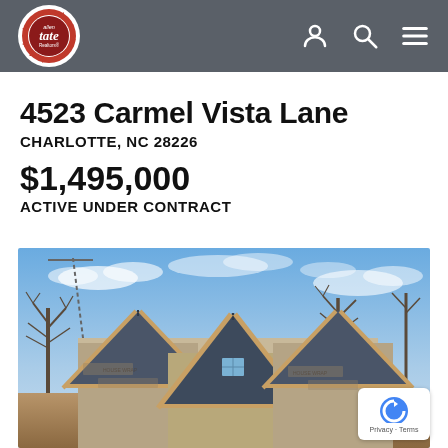Allen Tate Realtors navigation bar with logo and icons
4523 Carmel Vista Lane
CHARLOTTE, NC 28226
$1,495,000
ACTIVE UNDER CONTRACT
[Figure (photo): Exterior photo of a new construction home under construction showing three gabled roof peaks with wood framing, house wrap, bare trees in background, and blue sky with clouds]